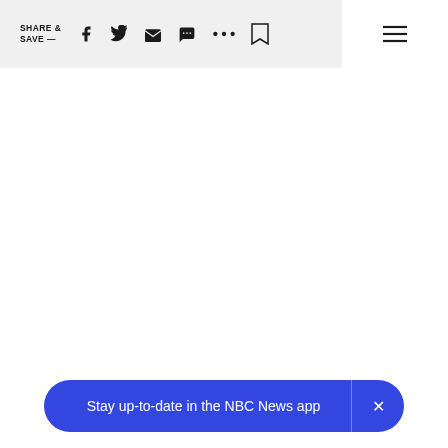SHARE & SAVE —
[Figure (screenshot): Main content area, white/blank]
Stay up-to-date in the NBC News app